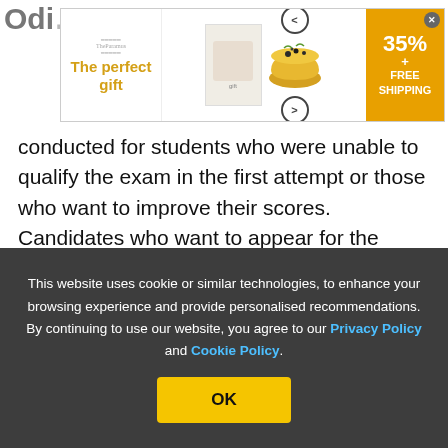[Figure (screenshot): Advertisement banner for 'The perfect gift' showing a bowl/dish product with navigation arrows, 35% off and FREE SHIPPING offer in orange]
conducted for students who were unable to qualify the exam in the first attempt or those who want to improve their scores. Candidates who want to appear for the Odisha Board class 12 compartmental exams are first required to submit the applications for the compartmental exams which will be available on the official website.

After the compartmental exams applications are
This website uses cookie or similar technologies, to enhance your browsing experience and provide personalised recommendations. By continuing to use our website, you agree to our Privacy Policy and Cookie Policy.
OK